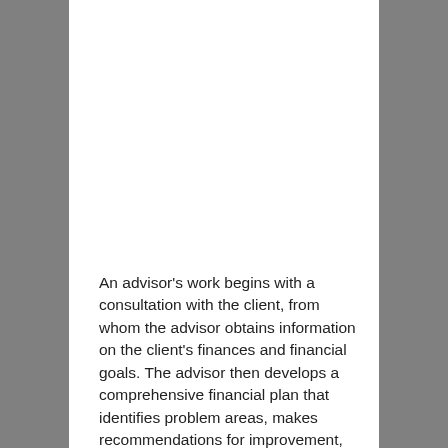An advisor's work begins with a consultation with the client, from whom the advisor obtains information on the client's finances and financial goals. The advisor then develops a comprehensive financial plan that identifies problem areas, makes recommendations for improvement, and selects appropriate investments